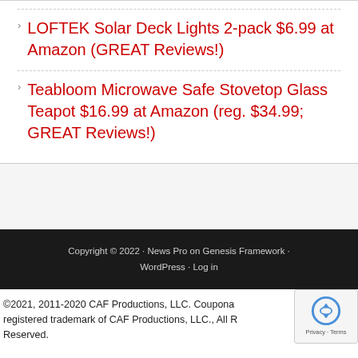LOFTEK Solar Deck Lights 2-pack $6.99 at Amazon (GREAT Reviews!)
Teabloom Microwave Safe Stovetop Glass Teapot $16.99 at Amazon (reg. $34.99; GREAT Reviews!)
Copyright © 2022 · News Pro on Genesis Framework · WordPress · Log in
©2021, 2011-2020 CAF Productions, LLC. Couponal registered trademark of CAF Productions, LLC., All Reserved.